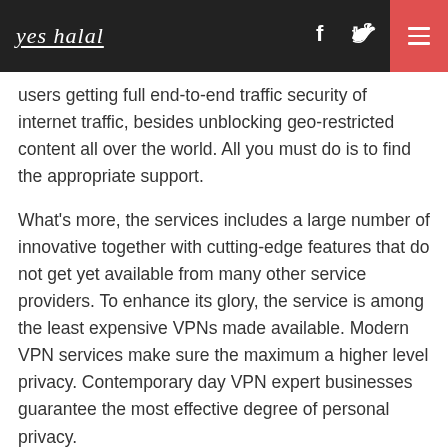yes halal
users getting full end-to-end traffic security of internet traffic, besides unblocking geo-restricted content all over the world. All you must do is to find the appropriate support.
What's more, the services includes a large number of innovative together with cutting-edge features that do not get yet available from many other service providers. To enhance its glory, the service is among the least expensive VPNs made available. Modern VPN services make sure the maximum a higher level privacy. Contemporary day VPN expert businesses guarantee the most effective degree of personal privacy.
The Good, the Bad and Reviews Purevpn Review
PureVPN get together with create procedure is pretty uncomplicated. PureVPN download together with setup process